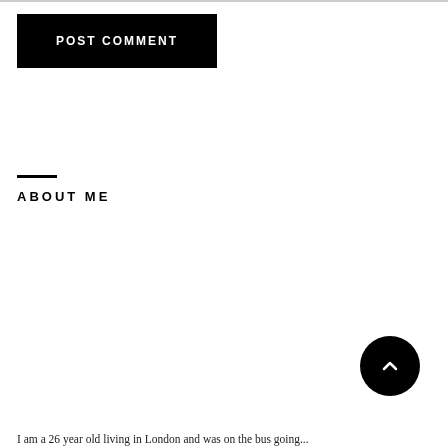[Figure (other): POST COMMENT button — black rectangle with white uppercase bold text]
ABOUT ME
[Figure (other): Circular black scroll-to-top button with white chevron arrow pointing up]
I am a 26 year old living in London and was on the bus going...